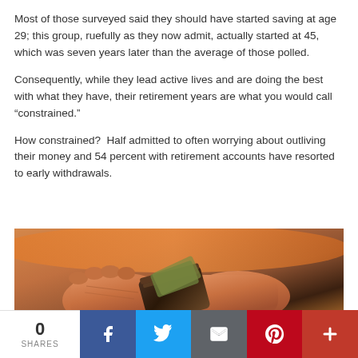Most of those surveyed said they should have started saving at age 29; this group, ruefully as they now admit, actually started at 45, which was seven years later than the average of those polled.
Consequently, while they lead active lives and are doing the best with what they have, their retirement years are what you would call “constrained.”
How constrained?  Half admitted to often worrying about outliving their money and 54 percent with retirement accounts have resorted to early withdrawals.
[Figure (photo): Elderly hands holding a wallet with cash, suggesting financial constraint in retirement]
0 SHARES | Facebook | Twitter | Email | Pinterest | More